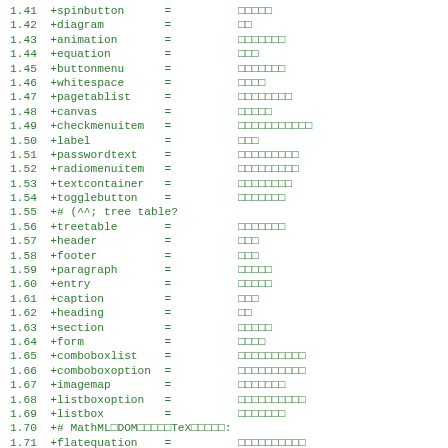1.41  +spinbutton      =          □□□□□
1.42  +diagram         =          □□
1.43  +animation       =          □□□□□□□
1.44  +equation        =          □□□
1.45  +buttonmenu      =          □□□□□□□
1.46  +whitespace      =          □□□□
1.47  +pagetablist     =          □□□□□□□□
1.48  +canvas          =          □□□□□
1.49  +checkmenuitem   =          □□□□□□□□□□□
1.50  +label           =          □□□
1.51  +passwordtext    =          □□□□□□□□□
1.52  +radiomenuitem   =          □□□□□□□□□
1.53  +textcontainer   =          □□□□□□□□
1.54  +togglebutton    =          □□□□□□□
1.55  +# (^^; tree table?
1.56  +treetable       =          □□□□□□□
1.57  +header          =          □□□
1.58  +footer          =          □□□
1.59  +paragraph       =          □□□□□
1.60  +entry           =          □□□□□
1.61  +caption         =          □□□
1.62  +heading         =          □□
1.63  +section         =          □□□□□
1.64  +form            =          □□□□
1.65  +comboboxlist    =          □□□□□□□□□□
1.66  +comboboxoption  =          □□□□□□□□□□
1.67  +imagemap        =          □□□□□□□
1.68  +listboxoption   =          □□□□□□□□□□
1.69  +listbox         =          □□□□□□□
1.70  +# MathML□DOM□□□□□TeX□□□□□:
1.71  +flatequation    =          □□□□□□□□□□
1.72  +gridcell        =          □□□□□□